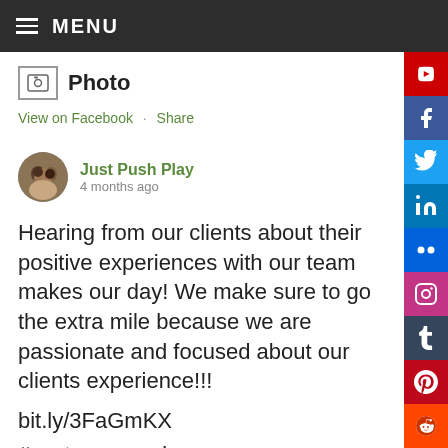MENU
Photo
View on Facebook · Share
Just Push Play
4 months ago
Hearing from our clients about their positive experiences with our team makes our day! We make sure to go the extra mile because we are passionate and focused about our clients experience!!!
bit.ly/3FaGmKX
#customerservice